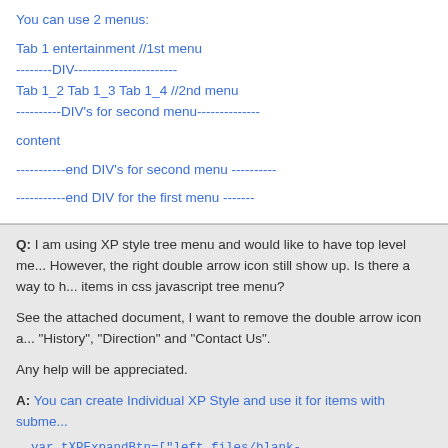You can use 2 menus:
Tab 1 entertainment //1st menu
--------DIV-----------------------
Tab 1_2 Tab 1_3 Tab 1_4 //2nd menu
----------DIV's for second menu--------------

content

-----------end DIV's for second menu ----------

-----------end DIV for the first menu -------
Q: I am using XP style tree menu and would like to have top level me... However, the right double arrow icon still show up. Is there a way to h... items in css javascript tree menu?

See the attached document, I want to remove the double arrow icon a... "History", "Direction" and "Contact Us".

Any help will be appreciated.
A: You can create Individual XP Style and use it for items with subme...
var tXPExpandBtn=["left.files/blank-arrow.gif","left.files/blank-arrow.g... arrow.gif","left.files/blank-arrow.gif"];